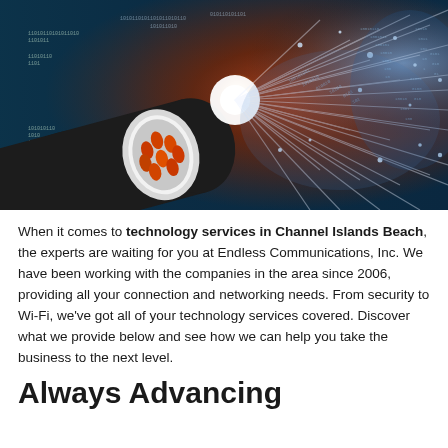[Figure (photo): Close-up photo of fiber optic cable bundle with orange/red strands shooting out light beams against a blue digital background with binary code and glowing particles.]
When it comes to technology services in Channel Islands Beach, the experts are waiting for you at Endless Communications, Inc. We have been working with the companies in the area since 2006, providing all your connection and networking needs. From security to Wi-Fi, we've got all of your technology services covered. Discover what we provide below and see how we can help you take the business to the next level.
Always Advancing